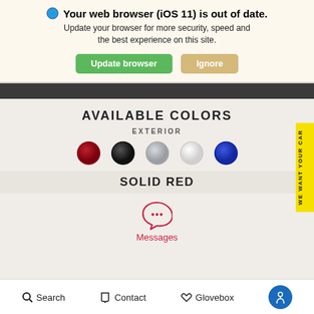🌐 Your web browser (iOS 11) is out of date. Update your browser for more security, speed and the best experience on this site.
Update browser | Ignore
[Figure (screenshot): Dark navigation bar from website]
AVAILABLE COLORS
EXTERIOR
[Figure (illustration): Five color circles: red, black, silver, white, blue]
SOLID RED
[Figure (illustration): Chat bubble icon with three dots (Messages)]
Messages
Search   Contact   Glovebox
WE WANT YOUR CAR